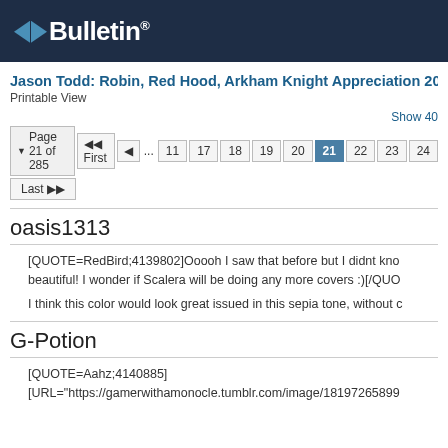vBulletin
Jason Todd: Robin, Red Hood, Arkham Knight Appreciation 2019
Printable View
Show 40
Page 21 of 285  First  ... 11 17 18 19 20 21 22 23 24 Last
oasis1313
[QUOTE=RedBird;4139802]Ooooh I saw that before but I didnt kno beautiful! I wonder if Scalera will be doing any more covers :)[/QUO
I think this color would look great issued in this sepia tone, without c
G-Potion
[QUOTE=Aahz;4140885]
[URL="https://gamerwithamonocle.tumblr.com/image/18197265899